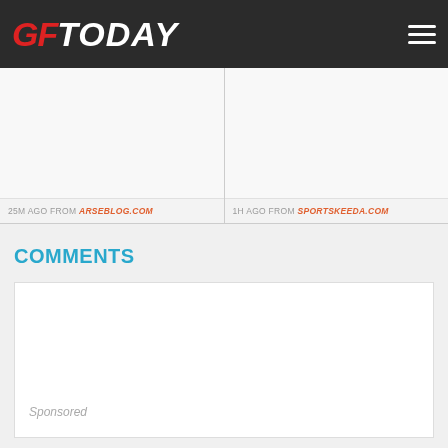GFToday
25M AGO FROM ARSEBLOG.COM
1H AGO FROM SPORTSKEEDA.COM
COMMENTS
Sponsored